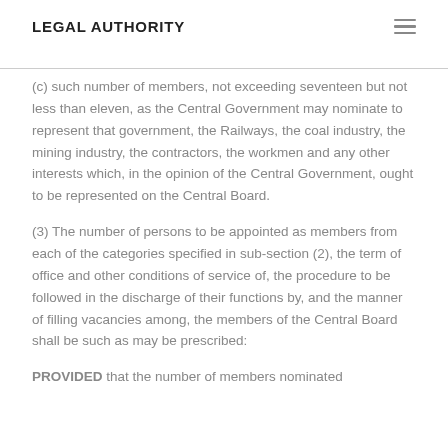LEGAL AUTHORITY
(c) such number of members, not exceeding seventeen but not less than eleven, as the Central Government may nominate to represent that government, the Railways, the coal industry, the mining industry, the contractors, the workmen and any other interests which, in the opinion of the Central Government, ought to be represented on the Central Board.
(3) The number of persons to be appointed as members from each of the categories specified in sub-section (2), the term of office and other conditions of service of, the procedure to be followed in the discharge of their functions by, and the manner of filling vacancies among, the members of the Central Board shall be such as may be prescribed:
PROVIDED that the number of members nominated